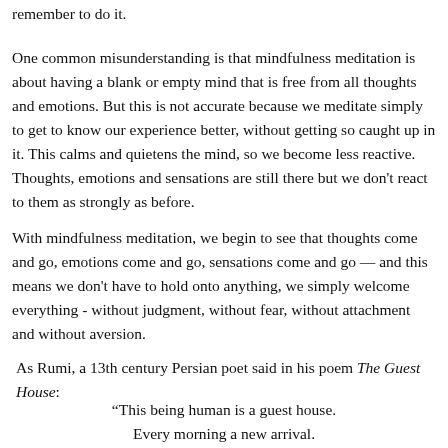remember to do it.
One common misunderstanding is that mindfulness meditation is about having a blank or empty mind that is free from all thoughts and emotions. But this is not accurate because we meditate simply to get to know our experience better, without getting so caught up in it. This calms and quietens the mind, so we become less reactive. Thoughts, emotions and sensations are still there but we don't react to them as strongly as before.
With mindfulness meditation, we begin to see that thoughts come and go, emotions come and go, sensations come and go — and this means we don't have to hold onto anything, we simply welcome everything - without judgment, without fear, without attachment and without aversion.
As Rumi, a 13th century Persian poet said in his poem The Guest House:
“This being human is a guest house. Every morning a new arrival. A joy, a depression, a meanness